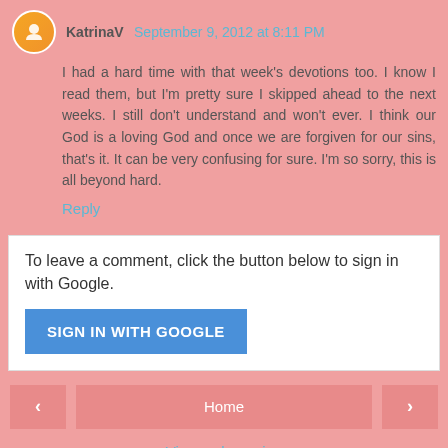KatrinaV September 9, 2012 at 8:11 PM
I had a hard time with that week's devotions too. I know I read them, but I'm pretty sure I skipped ahead to the next weeks. I still don't understand and won't ever. I think our God is a loving God and once we are forgiven for our sins, that's it. It can be very confusing for sure. I'm so sorry, this is all beyond hard.
Reply
To leave a comment, click the button below to sign in with Google.
[Figure (other): SIGN IN WITH GOOGLE button]
[Figure (other): Navigation bar with left arrow, Home button, right arrow]
View web version
Powered by Blogger.